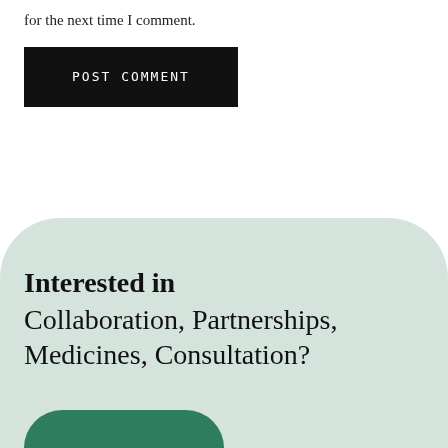for the next time I comment.
POST COMMENT
Interested in Collaboration, Partnerships, Medicines, Consultation?